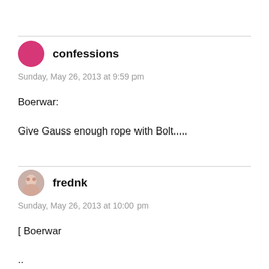confessions
Sunday, May 26, 2013 at 9:59 pm
Boerwar:
Give Gauss enough rope with Bolt.....
frednk
Sunday, May 26, 2013 at 10:00 pm
[ Boerwar
..